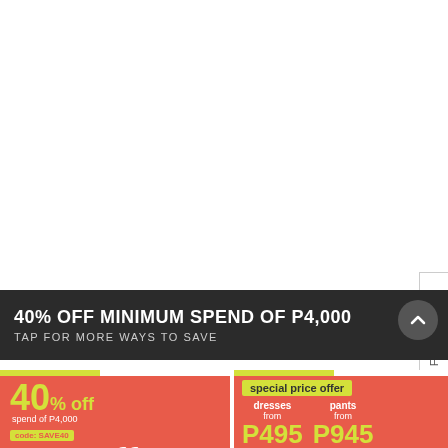[Figure (screenshot): White empty area at top of page, part of a web/app screenshot]
Feedback
40% OFF MINIMUM SPEND OF P4,000
TAP FOR MORE WAYS TO SAVE
[Figure (infographic): Left promotional card: 40% off spend of P4,000 code: SAVE40, 30% off — salmon/red background with yellow-green accent stripe]
[Figure (infographic): Right promotional card: special price offer — dresses from P495, pants from P945 — salmon/red background with yellow-green accent stripe]